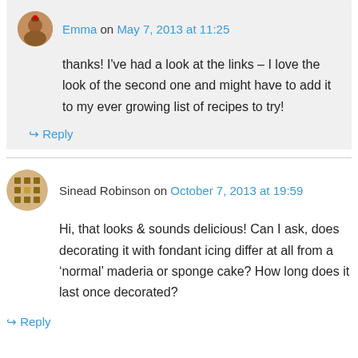Emma on May 7, 2013 at 11:25
thanks! I've had a look at the links – I love the look of the second one and might have to add it to my ever growing list of recipes to try!
↳ Reply
Sinead Robinson on October 7, 2013 at 19:59
Hi, that looks & sounds delicious! Can I ask, does decorating it with fondant icing differ at all from a 'normal' maderia or sponge cake? How long does it last once decorated?
↳ Reply